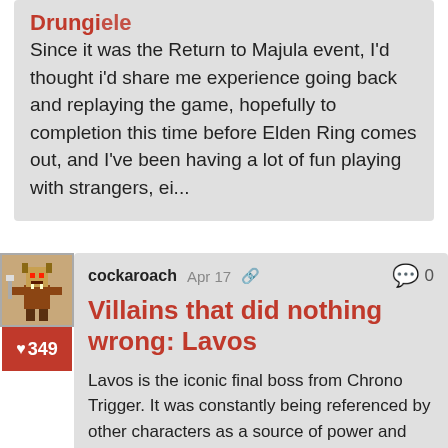Brungi...
Since it was the Return to Majula event, I'd thought i'd share me experience going back and replaying the game, hopefully to completion this time before Elden Ring comes out, and I've been having a lot of fun playing with strangers, ei...
[Figure (illustration): Pixel art avatar of a goblin/warrior character]
♡349
cockaroach   Apr 17   🔗   💬 0
Villains that did nothing wrong: Lavos
Lavos is the iconic final boss from Chrono Trigger. It was constantly being referenced by other characters as a source of power and evil, but in fact, Lavos was just a creature trying to get a